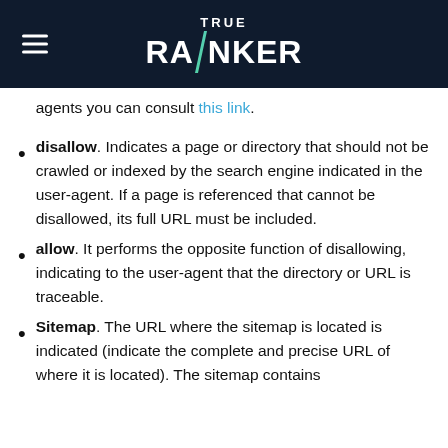[Figure (logo): True Ranker logo on dark navy background with hamburger menu icon on left]
agents you can consult this link.
disallow. Indicates a page or directory that should not be crawled or indexed by the search engine indicated in the user-agent. If a page is referenced that cannot be disallowed, its full URL must be included.
allow. It performs the opposite function of disallowing, indicating to the user-agent that the directory or URL is traceable.
Sitemap. The URL where the sitemap is located is indicated (indicate the complete and precise URL of where it is located). The sitemap contains